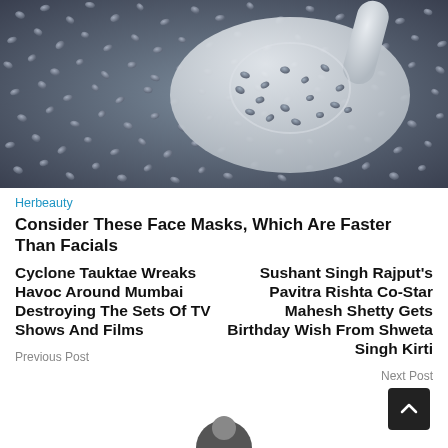[Figure (photo): Close-up photo of dark chia seeds being held in a white spoon against a background of more chia seeds]
Herbeauty
Consider These Face Masks, Which Are Faster Than Facials
Cyclone Tauktae Wreaks Havoc Around Mumbai Destroying The Sets Of TV Shows And Films
Previous Post
Sushant Singh Rajput's Pavitra Rishta Co-Star Mahesh Shetty Gets Birthday Wish From Shweta Singh Kirti
Next Post
[Figure (photo): Partially visible circular avatar/profile image at bottom center of page]